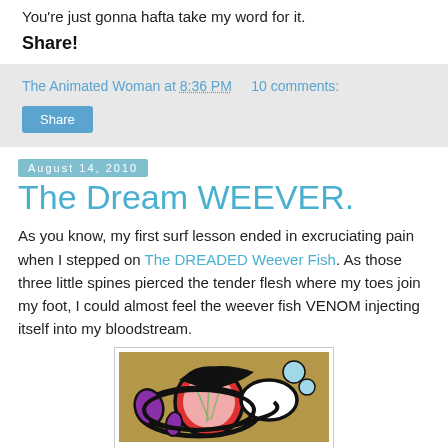You're just gonna hafta take my word for it.
Share!
The Animated Woman at 8:36 PM    10 comments:
Share
August 14, 2010
The Dream WEEVER.
As you know, my first surf lesson ended in excruciating pain when I stepped on The DREADED Weever Fish. As those three little spines pierced the tender flesh where my toes join my foot, I could almost feel the weever fish VENOM injecting itself into my bloodstream.
[Figure (illustration): Colorful stylized illustration of a foot or fish being stung, with bold black outlines, red circular shape, pink interior, purple and teal accent shapes, on a tan/brown background.]